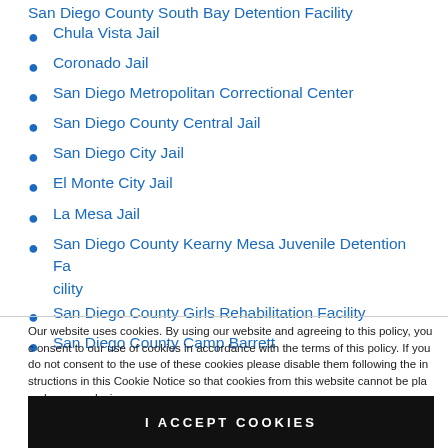San Diego County South Bay Detention Facility
Chula Vista Jail
Coronado Jail
San Diego Metropolitan Correctional Center
San Diego County Central Jail
San Diego City Jail
El Monte City Jail
La Mesa Jail
San Diego County Kearny Mesa Juvenile Detention Facility
San Diego County Girls Rehabilitation Facility
San Diego County Camp Barrett
Our website uses cookies. By using our website and agreeing to this policy, you consent to our use of cookies in accordance with the terms of this policy. If you do not consent to the use of these cookies please disable them following the instructions in this Cookie Notice so that cookies from this website cannot be placed on your device.
I ACCEPT COOKIES